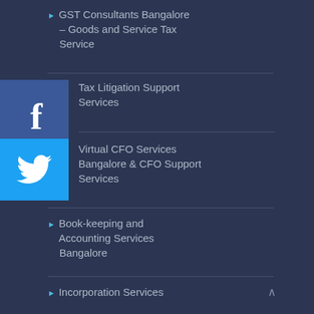GST Consultants Bangalore – Goods and Service Tax Service
Tax Litigation Support Services
Virtual CFO Services Bangalore & CFO Support Services
Book-keeping and Accounting Services Bangalore
Incorporation Services